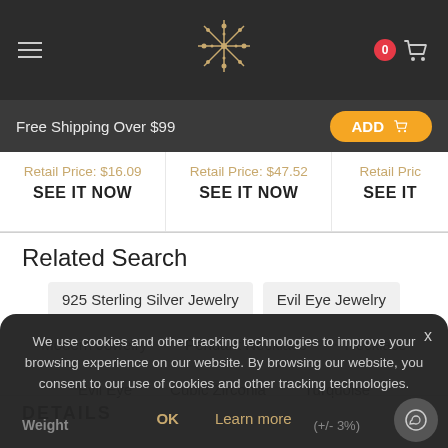Navigation header with hamburger menu, logo, cart icon with badge 0
Free Shipping Over $99
ADD
Retail Price: $16.09
SEE IT NOW
Retail Price: $47.52
SEE IT NOW
Retail Pric
SEE IT
Related Search
925 Sterling Silver Jewelry
Evil Eye Jewelry
Modern Jewelry
Pendant Necklace
Necklace
Evil Eye
Cubic Zirconia
Turquoise
DETAILS
We use cookies and other tracking technologies to improve your browsing experience on our website. By browsing our website, you consent to our use of cookies and other tracking technologies.
Weight
(+/- 3%)